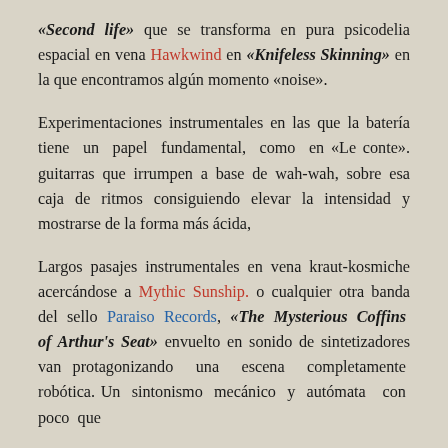«Second life» que se transforma en pura psicodelia espacial en vena Hawkwind en «Knifeless Skinning» en la que encontramos algún momento «noise».
Experimentaciones instrumentales en las que la batería tiene un papel fundamental, como en «Le conte». guitarras que irrumpen a base de wah-wah, sobre esa caja de ritmos consiguiendo elevar la intensidad y mostrarse de la forma más ácida,
Largos pasajes instrumentales en vena kraut-kosmiche acercándose a Mythic Sunship. o cualquier otra banda del sello Paraiso Records, «The Mysterious Coffins of Arthur's Seat» envuelto en sonido de sintetizadores van protagonizando una escena completamente robótica. Un sintonismo mecánico y autómata  con poco que